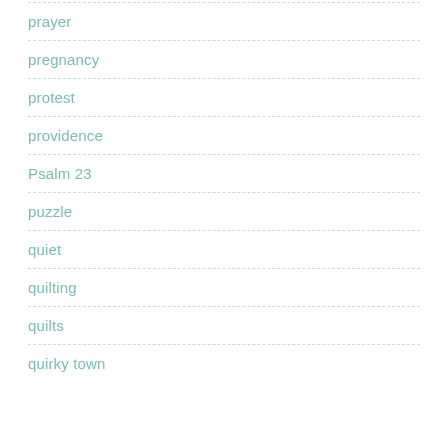prayer
pregnancy
protest
providence
Psalm 23
puzzle
quiet
quilting
quilts
quirky town